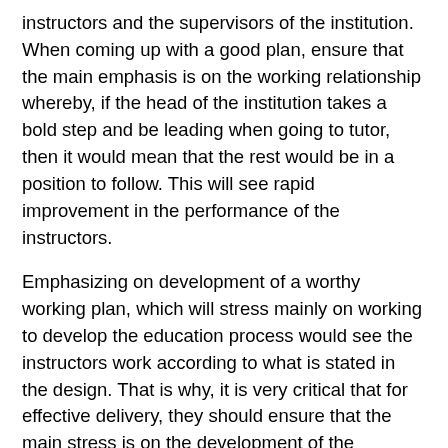instructors and the supervisors of the institution. When coming up with a good plan, ensure that the main emphasis is on the working relationship whereby, if the head of the institution takes a bold step and be leading when going to tutor, then it would mean that the rest would be in a position to follow. This will see rapid improvement in the performance of the instructors.
Emphasizing on development of a worthy working plan, which will stress mainly on working to develop the education process would see the instructors work according to what is stated in the design. That is why, it is very critical that for effective delivery, they should ensure that the main stress is on the development of the education process, this mainly starts from the instructors and their value in terms of effective delivery in the halls of tutoring.
Also important is the fact that it should be brief and informal. When developing one that would work very efficiently, consider the fact that it should work efficiently to ensure quality job is ensured at the end of the day. When preparing therefore, one should note the fact that it should address in a